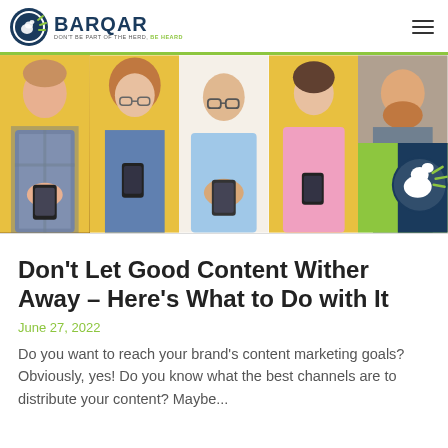BARQAR — DON'T BE PART OF THE HERD, BE HEARD
[Figure (photo): Five people looking at their smartphones against yellow and white backgrounds, with a Barqar dog logo overlay on the last panel]
Don't Let Good Content Wither Away – Here's What to Do with It
June 27, 2022
Do you want to reach your brand's content marketing goals? Obviously, yes! Do you know what the best channels are to distribute your content? Maybe...